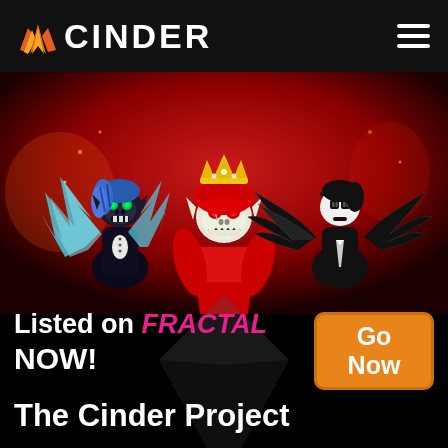CINDER
[Figure (illustration): Three stylized dark fantasy game characters standing against a red smoky background. Left character has blue hair and teal crystalline wings. Center character wears a red hood and has a skull face with a gold crown. Right character is black and white with dark feathered wings.]
Listed on FRACTAL NOW!
Go Now
The Cinder Project